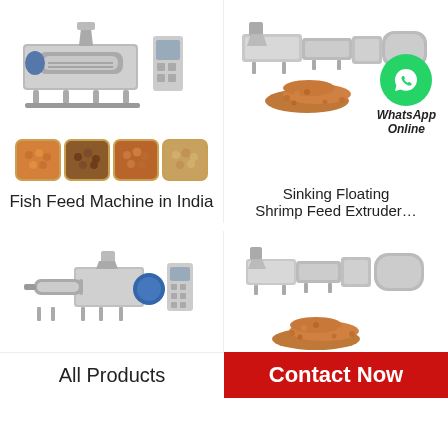[Figure (photo): Fish feed extrusion machine (large industrial equipment) with four pellet product samples shown in rounded square thumbnails below]
[Figure (photo): Sinking/Floating Shrimp Feed Extruder machine line with a pile of brown pellets]
Fish Feed Machine in India
Sinking Floating Shrimp Feed Extruder…
[Figure (photo): WhatsApp Online button with green phone icon]
[Figure (photo): Small fish feed extrusion machine (bottom left)]
[Figure (photo): Sinking/Floating Shrimp Feed Extruder machine line with pellets (bottom right)]
All Products
Contact Now